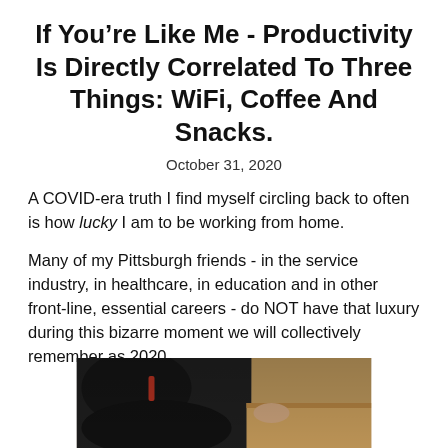If You’re Like Me - Productivity Is Directly Correlated To Three Things: WiFi, Coffee And Snacks.
October 31, 2020
A COVID-era truth I find myself circling back to often is how lucky I am to be working from home.
Many of my Pittsburgh friends - in the service industry, in healthcare, in education and in other front-line, essential careers - do NOT have that luxury during this bizarre moment we will collectively remember as 2020.
[Figure (photo): A person in a dark jacket working at a desk with wooden surfaces, partially cropped at bottom of page.]